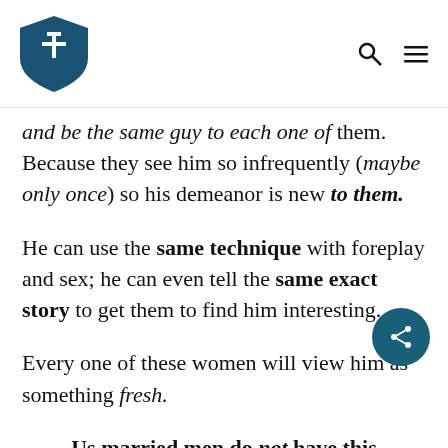[Logo: shield with T icon] [Search icon] [Menu icon]
and be the same guy to each one of them. Because they see him so infrequently (maybe only once) so his demeanor is new to them.
He can use the same technique with foreplay and sex; he can even tell the same exact story to get them to find him interesting.
Every one of these women will view him as something fresh.
Us married men do not have this luxury.